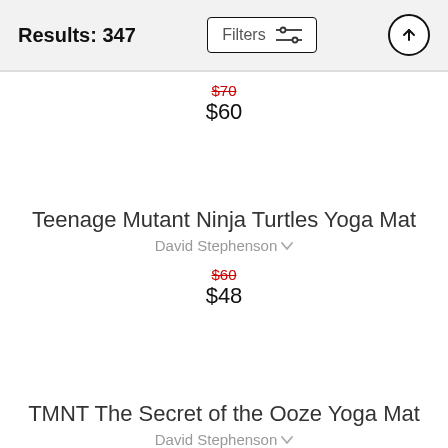Results: 347  Filters
$70 $60
Teenage Mutant Ninja Turtles Yoga Mat
David Stephenson
$60
$48
TMNT The Secret of the Ooze Yoga Mat
David Stephenson
$60
$48